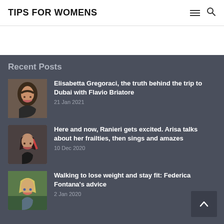TIPS FOR WOMENS
Recent Posts
[Figure (photo): Smiling brunette woman with long hair]
Elisabetta Gregoraci, the truth behind the trip to Dubai with Flavio Briatore
21 Jan 2021
[Figure (photo): Smiling woman with short dark hair and red highlights]
Here and now, Ranieri gets excited. Arisa talks about her frailties, then sings and amazes
10 Dec 2020
[Figure (photo): Smiling blonde woman outdoors]
Walking to lose weight and stay fit: Federica Fontana's advice
2 Jan 2020